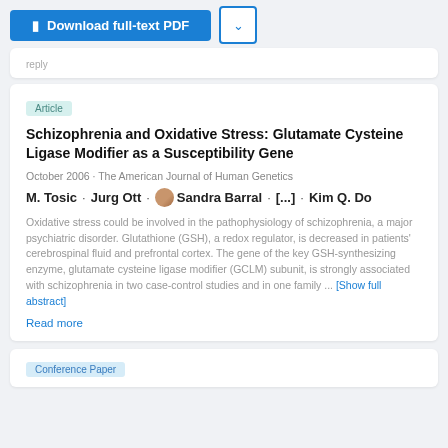[Figure (screenshot): Download full-text PDF button (blue) with a chevron/dropdown button (white with blue border)]
Article
Schizophrenia and Oxidative Stress: Glutamate Cysteine Ligase Modifier as a Susceptibility Gene
October 2006 · The American Journal of Human Genetics
M. Tosic · Jurg Ott · Sandra Barral · [...] · Kim Q. Do
Oxidative stress could be involved in the pathophysiology of schizophrenia, a major psychiatric disorder. Glutathione (GSH), a redox regulator, is decreased in patients' cerebrospinal fluid and prefrontal cortex. The gene of the key GSH-synthesizing enzyme, glutamate cysteine ligase modifier (GCLM) subunit, is strongly associated with schizophrenia in two case-control studies and in one family ... [Show full abstract]
Read more